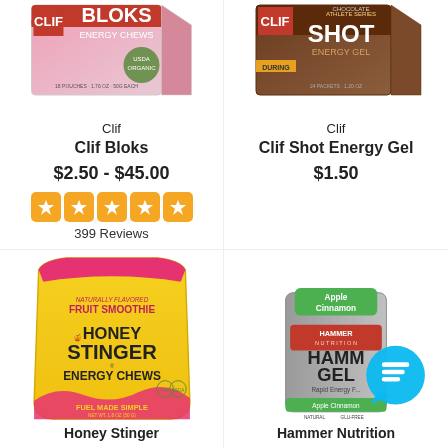[Figure (photo): Clif Bloks Energy Chews product box, pink and white packaging]
Clif
Clif Bloks
$2.50 - $45.00
[Figure (infographic): 5 orange star rating icons]
399 Reviews
[Figure (photo): Clif Shot Energy Gel product box, chocolate brown packaging]
Clif
Clif Shot Energy Gel
$1.50
[Figure (photo): Honey Stinger Fruit Smoothie Energy Chews, yellow and pink pouch]
Honey Stinger
[Figure (photo): Hammer Nutrition Hammer Gel Apple Cinnamon packet with chat bubble overlay]
Hammer Nutrition